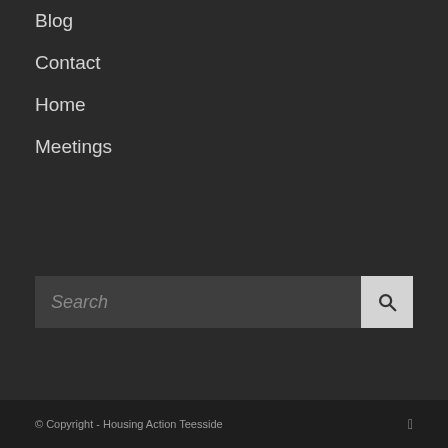Blog
Contact
Home
Meetings
[Figure (screenshot): Search input field with a search button on the right containing a magnifying glass icon]
© Copyright - Housing Action Teesside